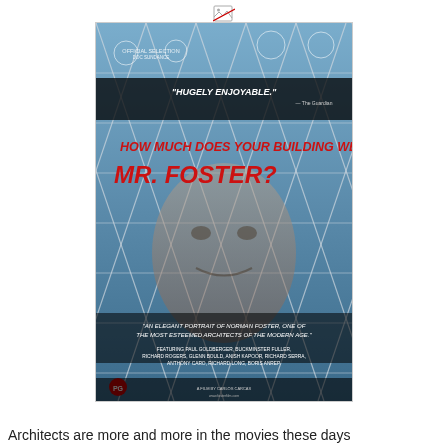[Figure (photo): Movie poster for 'How Much Does Your Building Weigh, Mr. Foster?' showing a glass building facade with a face reflected in it. Text reads '"HUGELY ENJOYABLE."' and the title in large red letters. Bottom text describes it as 'AN ELEGANT PORTRAIT OF NORMAN FOSTER, ONE OF THE MOST ESTEEMED ARCHITECTS OF THE MODERN AGE.' Features credits for Paul Goldberger, Buckminster Fuller, Richard Rogers, Glenn Bould, Anish Kapoor, Richard Serra, Anthony Caro, Richard Long, Boris Anrep. Festival laurels shown at top.]
Architects are more and more in the movies these days